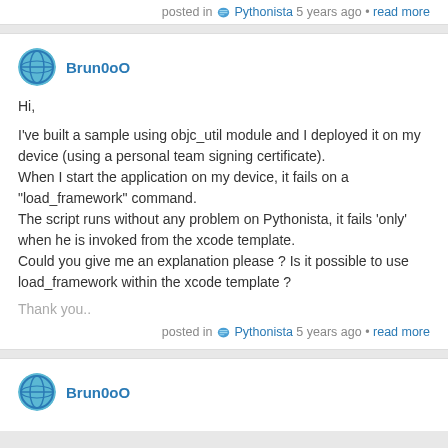posted in Pythonista 5 years ago • read more
Brun0oO
Hi,

I've built a sample using objc_util module and I deployed it on my device (using a personal team signing certificate).
When I start the application on my device, it fails on a "load_framework" command.
The script runs without any problem on Pythonista, it fails 'only' when he is invoked from the xcode template.
Could you give me an explanation please ? Is it possible to use load_framework within the xcode template ?
Thank you..
posted in Pythonista 5 years ago • read more
Brun0oO